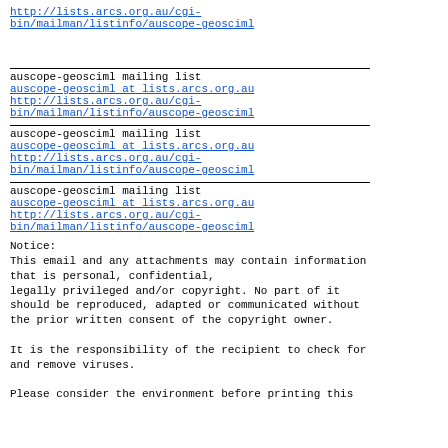http://lists.arcs.org.au/cgi-bin/mailman/listinfo/auscope-geosciml
auscope-geosciml mailing list
auscope-geosciml at lists.arcs.org.au
http://lists.arcs.org.au/cgi-bin/mailman/listinfo/auscope-geosciml
auscope-geosciml mailing list
auscope-geosciml at lists.arcs.org.au
http://lists.arcs.org.au/cgi-bin/mailman/listinfo/auscope-geosciml
auscope-geosciml mailing list
auscope-geosciml at lists.arcs.org.au
http://lists.arcs.org.au/cgi-bin/mailman/listinfo/auscope-geosciml
Notice:
This email and any attachments may contain information that is personal, confidential,
legally privileged and/or copyright. No part of it should be reproduced, adapted or communicated without the prior written consent of the copyright owner.

It is the responsibility of the recipient to check for and remove viruses.